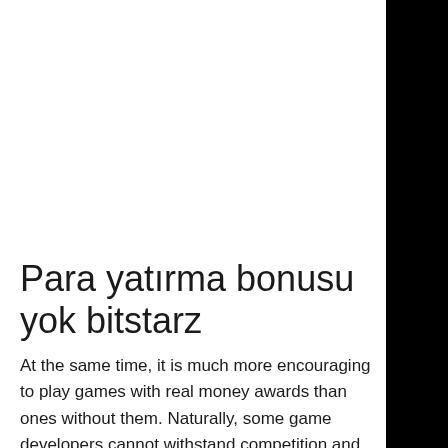Para yatırma bonusu yok bitstarz
At the same time, it is much more encouraging to play games with real money awards than ones without them. Naturally, some game developers cannot withstand competition and payout player's winnings, so the choice of games with faucet must be careful too. It is important to pay attention to